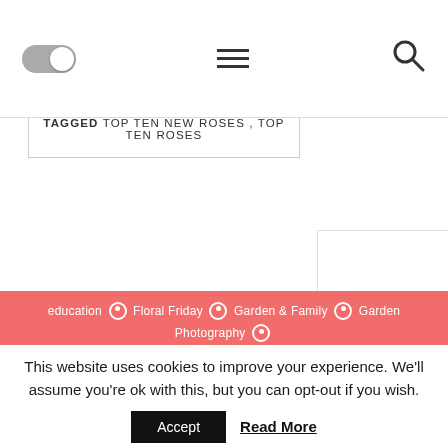[toggle] [menu] [search]
I paint flowers so they will not die ~ Mexico's World Acclaimed Painter Frida Kahlo
TAGGED TOP TEN NEW ROSES , TOP TEN ROSES
education ◎ Floral Friday ◎ Garden & Family ◎ Garden Photography ◎ General ◎ Illinois Gardens ◎ What's New
This website uses cookies to improve your experience. We'll assume you're ok with this, but you can opt-out if you wish.
Accept  Read More